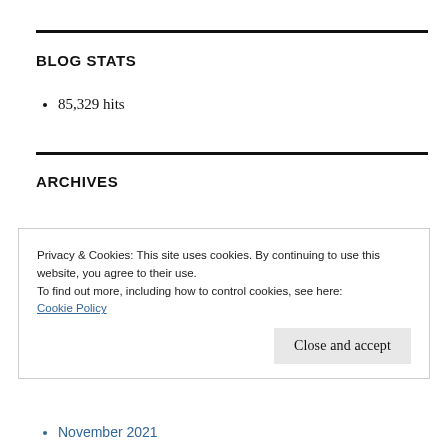BLOG STATS
85,329 hits
ARCHIVES
Privacy & Cookies: This site uses cookies. By continuing to use this website, you agree to their use.
To find out more, including how to control cookies, see here:
Cookie Policy
Close and accept
November 2021